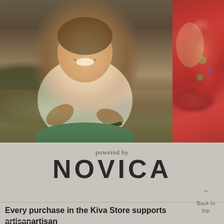[Figure (photo): Two photos side by side: left photo shows a smiling Southeast Asian woman in white t-shirt working with her hands on a craft, wearing a patterned sarong; right photo shows a partial view of a person in a red embroidered garment.]
powered by
NOVICA
Back to top
Every purchase in the Kiva Store supports artisan borrowers and helps fund Kiva's operations. Lend